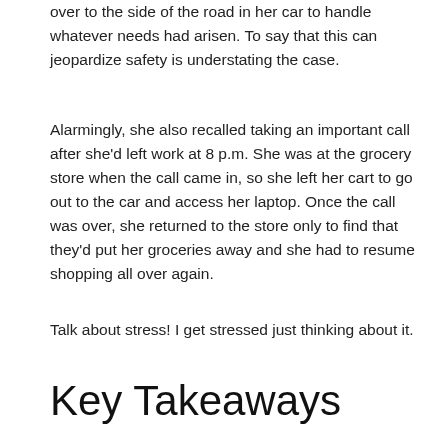only dispatcher for her company, she often had to pull over to the side of the road in her car to handle whatever needs had arisen. To say that this can jeopardize safety is understating the case.
Alarmingly, she also recalled taking an important call after she'd left work at 8 p.m. She was at the grocery store when the call came in, so she left her cart to go out to the car and access her laptop. Once the call was over, she returned to the store only to find that they'd put her groceries away and she had to resume shopping all over again.
Talk about stress! I get stressed just thinking about it.
Key Takeaways